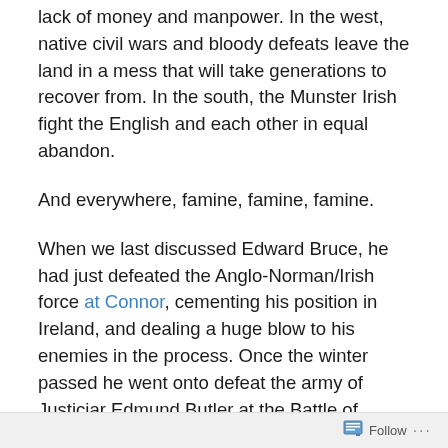lack of money and manpower. In the west, native civil wars and bloody defeats leave the land in a mess that will take generations to recover from. In the south, the Munster Irish fight the English and each other in equal abandon.
And everywhere, famine, famine, famine.
When we last discussed Edward Bruce, he had just defeated the Anglo-Norman/Irish force at Connor, cementing his position in Ireland, and dealing a huge blow to his enemies in the process. Once the winter passed he went onto defeat the army of Justiciar Edmund Butler at the Battle of Skerries, in February 1316. This victory, which the English, typically, blamed on poor terrain and bad luck, allowed Bruce to capture Dundalk, perhaps only temporarily, where he was crowned High King of Ireland in a very official looking, but nominally decorative, ceremony
Follow